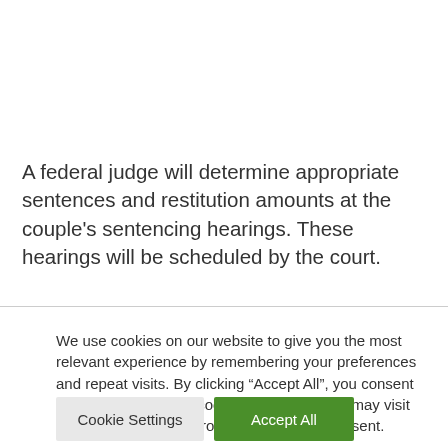A federal judge will determine appropriate sentences and restitution amounts at the couple’s sentencing hearings. These hearings will be scheduled by the court.
We use cookies on our website to give you the most relevant experience by remembering your preferences and repeat visits. By clicking “Accept All”, you consent to the use of ALL the cookies. However, you may visit "Cookie Settings" to provide a controlled consent.